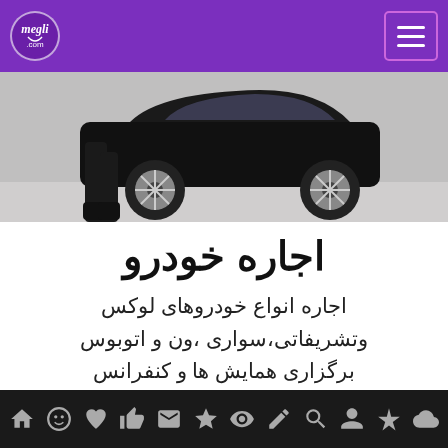megli.com — navigation bar with logo and menu button
[Figure (photo): A luxury black car with alloy wheel, person standing beside it in dark clothing, partial view]
اجاره خودرو
اجاره انواع خودروهای لوکس وتشریفاتی،سواری ،ون و اتوبوس برگزاری همایش ها و کنفرانس رزرو هتل اخذ ویزای ایران
Icon navigation bar with home, smiley, heart, like, envelope, star, eye, edit, search, user, asterisk, cloud icons